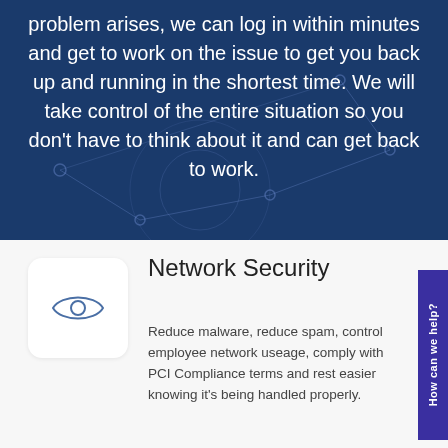problem arises, we can log in within minutes and get to work on the issue to get you back up and running in the shortest time. We will take control of the entire situation so you don't have to think about it and can get back to work.
[Figure (illustration): Eye icon inside a rounded square, representing network security monitoring]
Network Security
Reduce malware, reduce spam, control employee network useage, comply with PCI Compliance terms and rest easier knowing it's being handled properly.